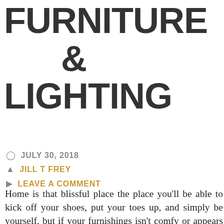FURNITURE & LIGHTING
JULY 30, 2018
JILL T FREY
LEAVE A COMMENT
Home is that blissful place the place you'll be able to kick off your shoes, put your toes up, and simply be yourself, but if your furnishings isn't comfy or appears to be like misplaced, you do not get that